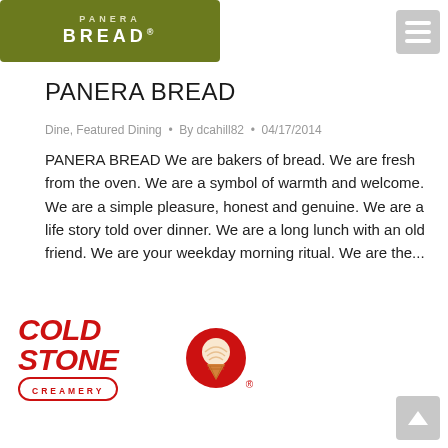[Figure (logo): Panera Bread logo — dark olive green background with 'BREAD®' text in white capital letters]
PANERA BREAD
Dine, Featured Dining  •  By dcahill82  •  04/17/2014
PANERA BREAD We are bakers of bread. We are fresh from the oven. We are a symbol of warmth and welcome. We are a simple pleasure, honest and genuine. We are a life story told over dinner. We are a long lunch with an old friend. We are your weekday morning ritual. We are the...
[Figure (logo): Cold Stone Creamery logo — red italic bold text 'COLD STONE' with 'CREAMERY' in a red oval pill underneath, and a red circle with an ice cream cone illustration on the right]